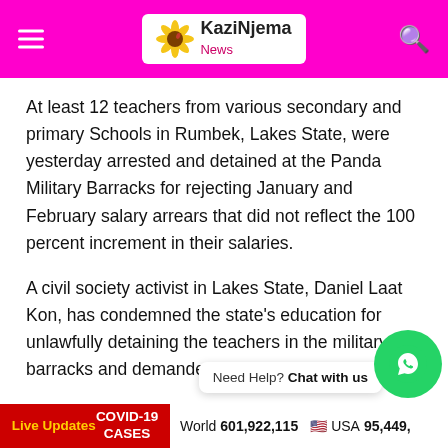KaziNjema News
At least 12 teachers from various secondary and primary Schools in Rumbek, Lakes State, were yesterday arrested and detained at the Panda Military Barracks for rejecting January and February salary arrears that did not reflect the 100 percent increment in their salaries.
A civil society activist in Lakes State, Daniel Laat Kon, has condemned the state's education for unlawfully detaining the teachers in the military barracks and demanded their immediate release.
Live Updates COVID-19 CASES   World 601,922,115   USA 95,449,